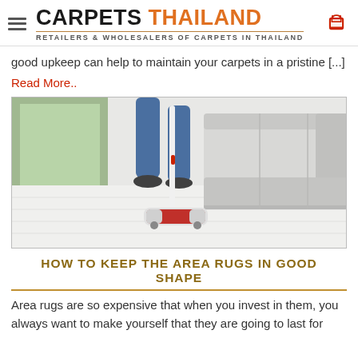CARPETS THAILAND — RETAILERS & WHOLESALERS OF CARPETS IN THAILAND
good upkeep can help to maintain your carpets in a pristine [...]
Read More..
[Figure (photo): Person vacuuming a light-colored carpet with a cordless vacuum cleaner near a grey sofa]
HOW TO KEEP THE AREA RUGS IN GOOD SHAPE
Area rugs are so expensive that when you invest in them, you always want to make yourself that they are going to last for